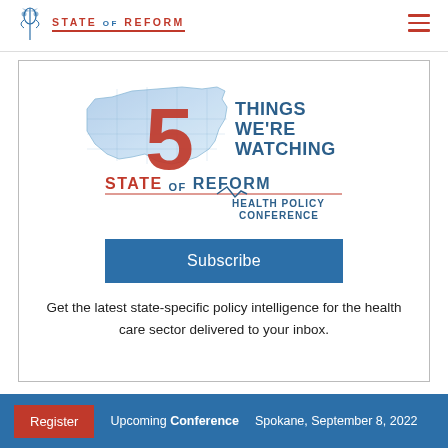STATE OF REFORM
[Figure (logo): 5 Things We're Watching — State of Reform Health Policy Conference logo with US map graphic and large red '5']
Subscribe
Get the latest state-specific policy intelligence for the health care sector delivered to your inbox.
Register   Upcoming Conference   Spokane, September 8, 2022